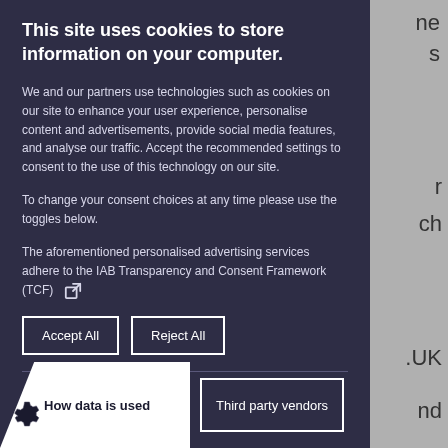This site uses cookies to store information on your computer.
We and our partners use technologies such as cookies on our site to enhance your user experience, personalise content and advertisements, provide social media features, and analyse our traffic. Accept the recommended settings to consent to the use of this technology on our site.
To change your consent choices at any time please use the toggles below.
The aforementioned personalised advertising services adhere to the IAB Transparency and Consent Framework (TCF) ⧉
Accept All
Reject All
How data is used
Third party vendors